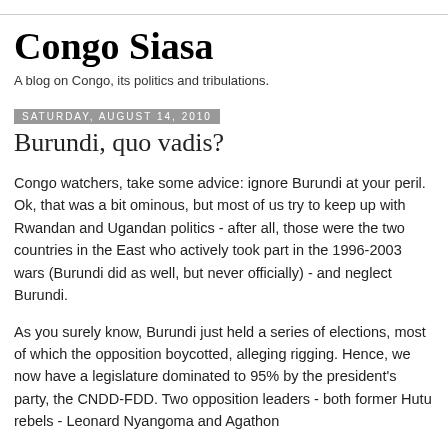Congo Siasa
A blog on Congo, its politics and tribulations.
Saturday, August 14, 2010
Burundi, quo vadis?
Congo watchers, take some advice: ignore Burundi at your peril. Ok, that was a bit ominous, but most of us try to keep up with Rwandan and Ugandan politics - after all, those were the two countries in the East who actively took part in the 1996-2003 wars (Burundi did as well, but never officially) - and neglect Burundi.
As you surely know, Burundi just held a series of elections, most of which the opposition boycotted, alleging rigging. Hence, we now have a legislature dominated to 95% by the president's party, the CNDD-FDD. Two opposition leaders - both former Hutu rebels - Leonard Nyangoma and Agathon